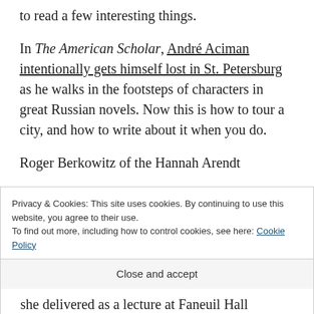to read a few interesting things.
In The American Scholar, André Aciman intentionally gets himself lost in St. Petersburg as he walks in the footsteps of characters in great Russian novels. Now this is how to tour a city, and how to write about it when you do.
Roger Berkowitz of the Hannah Arendt
Privacy & Cookies: This site uses cookies. By continuing to use this website, you agree to their use. To find out more, including how to control cookies, see here: Cookie Policy
Close and accept
she delivered as a lecture at Faneuil Hall